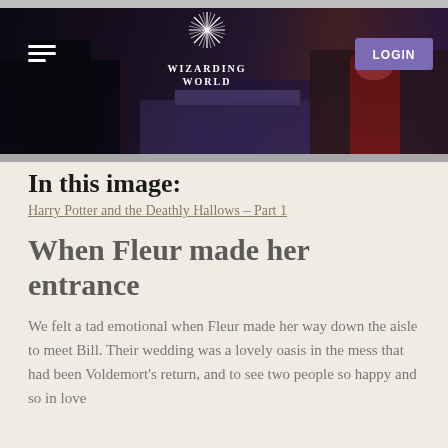[Figure (screenshot): Hero banner image showing a dark scene from Harry Potter and the Deathly Hallows - Part 1, depicting a wedding scene with figures in formal wear, with a navigation bar overlay including hamburger menu, Wizarding World logo, and Login button]
In this image:
Harry Potter and the Deathly Hallows – Part 1
When Fleur made her entrance
We felt a tad emotional when Fleur made her way down the aisle to meet Bill. Their wedding was a lovely oasis in the mess that had been Voldemort's return, and to see two people so happy and so in love